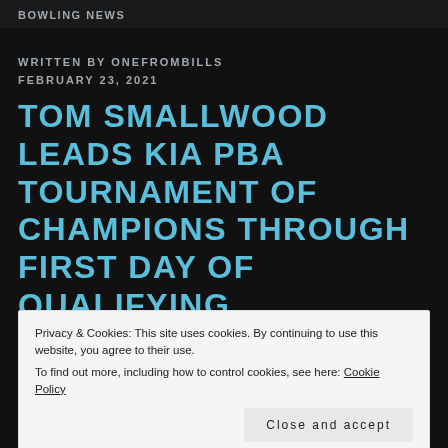Bowling News
WRITTEN BY ONEFROMBILLS
FEBRUARY 23, 2021
TOM SMALLWOOD LEADS KIA PBA TOURNAMENT OF CHAMPIONS THROUGH FIRST DAY OF QUALIFYING
Privacy & Cookies: This site uses cookies. By continuing to use this website, you agree to their use. To find out more, including how to control cookies, see here: Cookie Policy
Close and accept
Jupiter, Fla.—Three-time PBA Tour champion Tom Smallwood